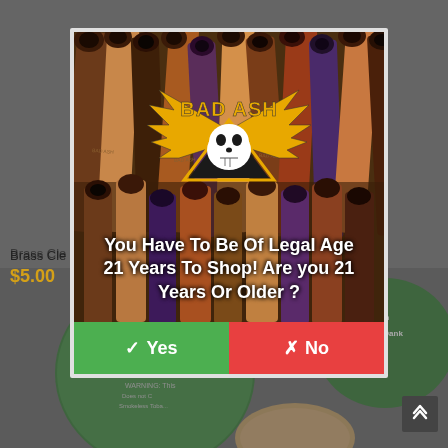Brass Cle
$5.00
[Figure (screenshot): Age verification modal popup for Bad Ash website. Background shows wooden smoking pipes. The Bad Ash logo (yellow winged skull in triangle) is centered. Text reads: 'You Have To Be Of Legal Age 21 Years To Shop! Are you 21 Years Or Older ?' with green Yes button and red No button. Background page shows product tins labeled 'Bubba Dank' / 'Stash Can'.]